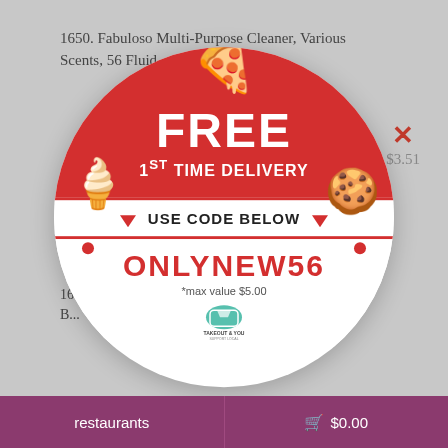1650. Fabuloso Multi-Purpose Cleaner, Various Scents, 56 Fluid...
$3.51
ITEM19...
16... B...
[Figure (infographic): Circular coupon overlay with red and white sections. Top red section says FREE in large bold white text, below that 1ST TIME DELIVERY. Middle white band says USE CODE BELOW with red triangles. Bottom white section shows code ONLYNEW56 in red, *max value $5.00, and Takeout & You logo. Decorative food emojis: pizza slice at top, ice cream cone on left, cookie on right. Red polka dots scattered around.]
*max value $5.00
165... Scrub...
$4.31
restaurants    🛒 $0.00